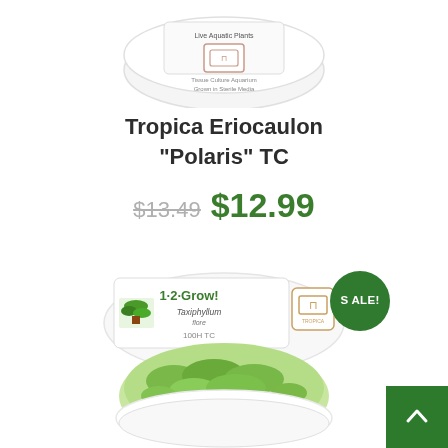[Figure (photo): Tropica TC plant container cup, white circular container with logo, partially visible at top of page]
Tropica Eriocaulon "Polaris" TC
$13.49  $12.99
[Figure (photo): 1-2-Grow! Taxiphyllum flore 100H TC plant in white circular container, green moss-like plant, with green SALE! badge circle in top right]
[Figure (other): Green scroll-to-top button with upward chevron arrow, bottom right corner]